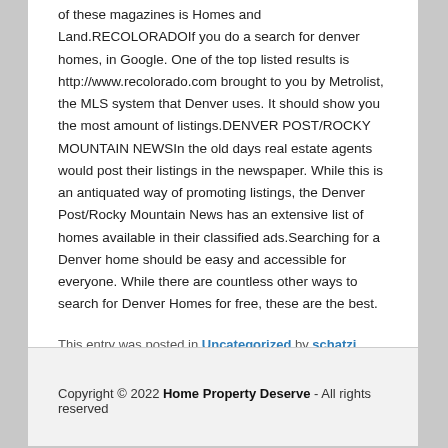of these magazines is Homes and Land.RECOLORADOIf you do a search for denver homes, in Google. One of the top listed results is http://www.recolorado.com brought to you by Metrolist, the MLS system that Denver uses. It should show you the most amount of listings.DENVER POST/ROCKY MOUNTAIN NEWSIn the old days real estate agents would post their listings in the newspaper. While this is an antiquated way of promoting listings, the Denver Post/Rocky Mountain News has an extensive list of homes available in their classified ads.Searching for a Denver home should be easy and accessible for everyone. While there are countless other ways to search for Denver Homes for free, these are the best.
This entry was posted in Uncategorized by schatzi. Bookmark the permalink.
Copyright © 2022 Home Property Deserve - All rights reserved